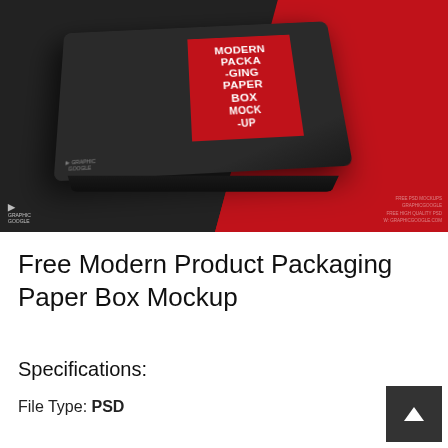[Figure (photo): A dark matte paper box mockup with a red label reading 'MODERN PACKAGING PAPER BOX MOCK-UP' photographed against a split dark grey and red background.]
Free Modern Product Packaging Paper Box Mockup
Specifications:
File Type: PSD